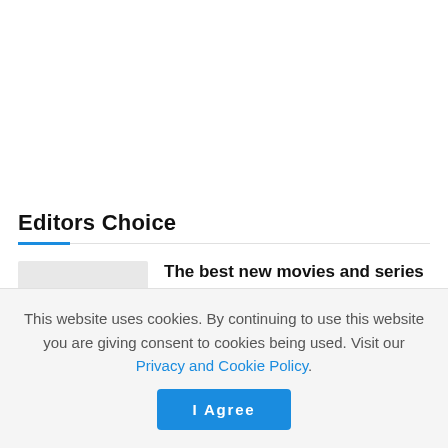Editors Choice
[Figure (photo): Thumbnail image placeholder (gray rectangle) for article]
The best new movies and series (July 11–17)
JULY 11, 2022
This website uses cookies. By continuing to use this website you are giving consent to cookies being used. Visit our Privacy and Cookie Policy.
I Agree